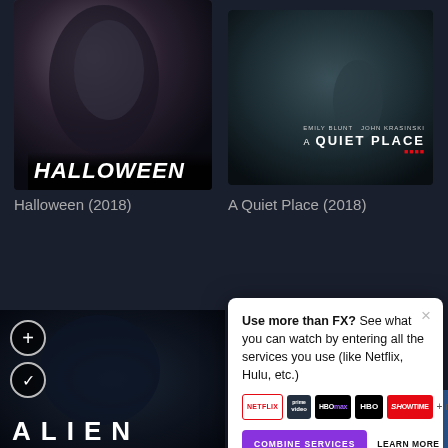[Figure (photo): Halloween 2018 movie poster showing close-up face silhouette with white mask]
Halloween (2018)
[Figure (photo): A Quiet Place 2018 movie poster showing person in bathtub]
A Quiet Place (2018)
[Figure (screenshot): Modal popup overlay: Use more than FX? See what you can watch by entering all the services you use (like Netflix, Hulu, etc.) with streaming service logos and COMBINE SERVICES / LEARN MORE buttons]
[Figure (photo): Alien movie poster partial view at bottom left]
[Figure (photo): Colorful TV show poster partial view at bottom right]